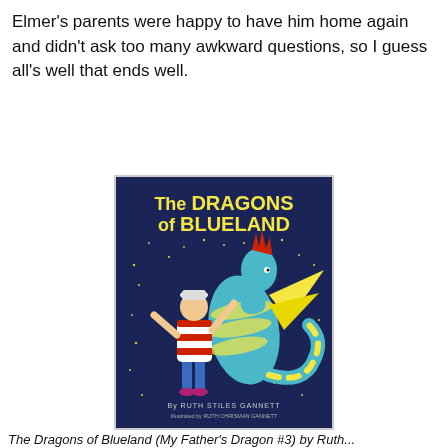Elmer's parents were happy to have him home again and didn't ask too many awkward questions, so I guess all's well that ends well.
[Figure (illustration): Book cover of 'The Dragons of Blueland' by Ruth Stiles Gannett, illustrated by Ruth Chrisman Gannett. Dark navy blue background with yellow stars, showing a boy in a red-and-white striped shirt hugging a blue-and-yellow striped dragon with yellow wings and a red crest.]
The Dragons of Blueland (My Father's Dragon #3) by Ruth...